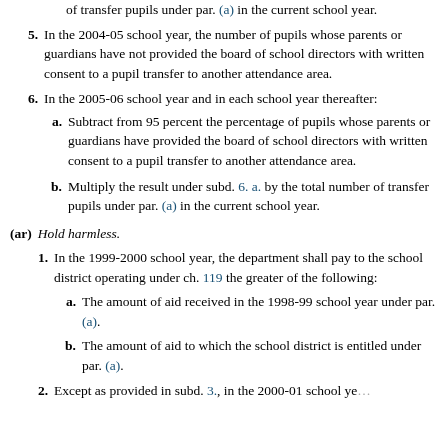of transfer pupils under par. (a) in the current school year.
5. In the 2004-05 school year, the number of pupils whose parents or guardians have not provided the board of school directors with written consent to a pupil transfer to another attendance area.
6. In the 2005-06 school year and in each school year thereafter:
a. Subtract from 95 percent the percentage of pupils whose parents or guardians have provided the board of school directors with written consent to a pupil transfer to another attendance area.
b. Multiply the result under subd. 6. a. by the total number of transfer pupils under par. (a) in the current school year.
(ar) Hold harmless.
1. In the 1999-2000 school year, the department shall pay to the school district operating under ch. 119 the greater of the following:
a. The amount of aid received in the 1998-99 school year under par. (a).
b. The amount of aid to which the school district is entitled under par. (a).
2. Except as provided in subd. 3., in the 2000-01 school ye...